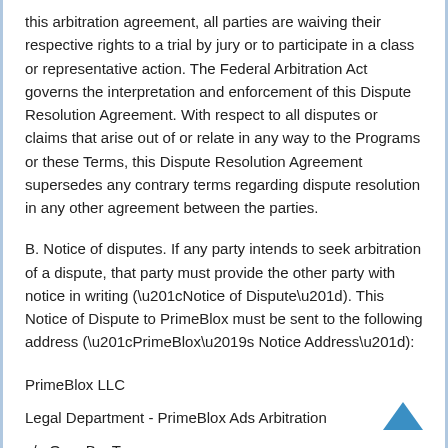this arbitration agreement, all parties are waiving their respective rights to a trial by jury or to participate in a class or representative action. The Federal Arbitration Act governs the interpretation and enforcement of this Dispute Resolution Agreement. With respect to all disputes or claims that arise out of or relate in any way to the Programs or these Terms, this Dispute Resolution Agreement supersedes any contrary terms regarding dispute resolution in any other agreement between the parties.
B. Notice of disputes. If any party intends to seek arbitration of a dispute, that party must provide the other party with notice in writing (“Notice of Dispute”). This Notice of Dispute to PrimeBlox must be sent to the following address (“PrimeBlox’s Notice Address”):
PrimeBlox LLC
Legal Department - PrimeBlox Ads Arbitration
c/o OpenBoxTeam
PO BOX 521766